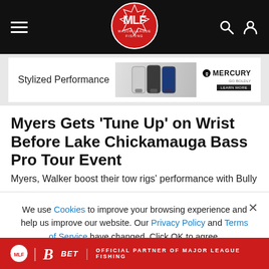MLF Major League Fishing navigation bar
[Figure (screenshot): Mercury outboard motors advertisement banner reading 'Stylized Performance' with Mercury logo and 'Learn More' button]
Myers Gets ‘Tune Up’ on Wrist Before Lake Chickamauga Bass Pro Tour Event
Myers, Walker boost their tow rigs’ performance with Bully
We use Cookies to improve your browsing experience and help us improve our website. Our Privacy Policy and Terms of Service have changed. Click OK to agree.
[Figure (screenshot): Ballys Bet advertisement: official partner of Major League Fishing]
OFFICIAL PARTNER OF MAJOR LEAGUE FISHING